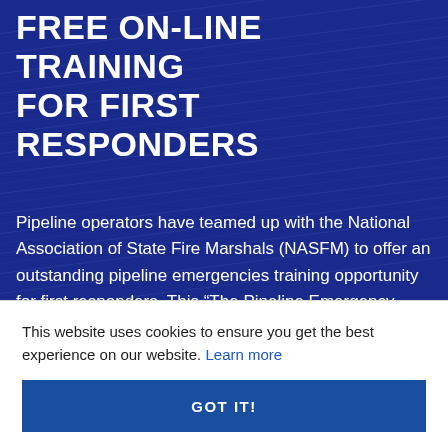FREE ON-LINE TRAINING FOR FIRST RESPONDERS
Pipeline operators have teamed up with the National Association of State Fire Marshals (NASFM) to offer an outstanding pipeline emergencies training opportunity for first responders. This “The Pipeline Emergency Training Portal” program,
This website uses cookies to ensure you get the best experience on our website. Learn more
GOT IT!